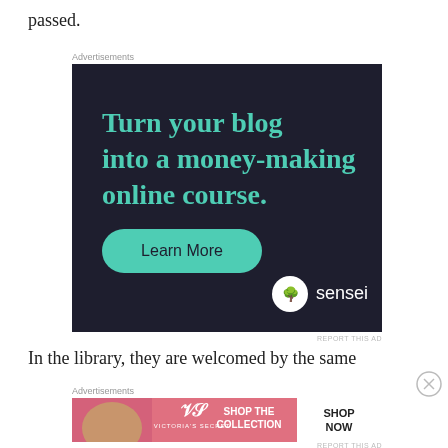passed.
Advertisements
[Figure (other): Sensei advertisement: dark navy background with teal text reading 'Turn your blog into a money-making online course.' and a green rounded 'Learn More' button, with sensei logo at bottom right.]
REPORT THIS AD
In the library, they are welcomed by the same
Advertisements
[Figure (other): Victoria's Secret advertisement: pink background with model, Victoria's Secret logo, text 'SHOP THE COLLECTION' and a white 'SHOP NOW' button.]
REPORT THIS AD